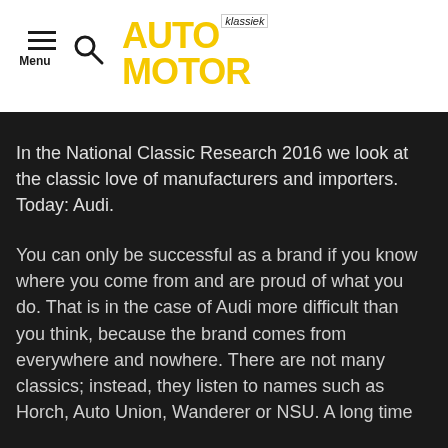Menu | AUTO MOTOR klassiek
In the National Classic Research 2016 we look at the classic love of manufacturers and importers. Today: Audi.
You can only be successful as a brand if you know where you come from and are proud of what you do. That is in the case of Audi more difficult than you think, because the brand comes from everywhere and nowhere. There are not many classics; instead, they listen to names such as Horch, Auto Union, Wanderer or NSU. A long time